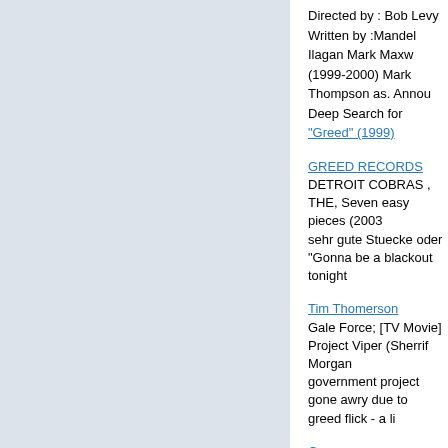Directed by : Bob Levy Written by :Mandel Ilagan Mark Maxw (1999-2000) Mark Thompson as. Annou Deep Search for "Greed" (1999)
GREED RECORDS
DETROIT COBRAS , THE, Seven easy pieces (2003 sehr gute Stuecke oder "Gonna be a blackout tonight
Tim Thomerson
Gale Force; [TV Movie] Project Viper (Sherrif Morgan government project gone awry due to greed flick - a li
G
Show on Earth, The? Greed ? Green Dragon, The? G the Tyrant? Guinevere - 1999 ? Gumby The Movie? (
Tarzan and His Mate (1934 b 104')
This innocence is contrasted to the violent greed of th Copyright © 1999 by Sanderson Beck. Movie Mirrors
Open Directory - Arts: Movies: Titles: G
Greatest Show on Earth, The (1); Greed (3); Green D Dinner (2); Guimba the Tyrant (2); Guinevere - 1999
YOKO SUIT IN COURT TODAY (PageSix.com)
YOKO SUIT IN COURT TODAY (New York Post)
Greenspan Blasts U.S. Businesses, Citing 'Infectious
Predating the Imminent Baseball Strike, Recently Pub Professional Sports (PR Newswire)
Washington Mutual Search for Greer to G...